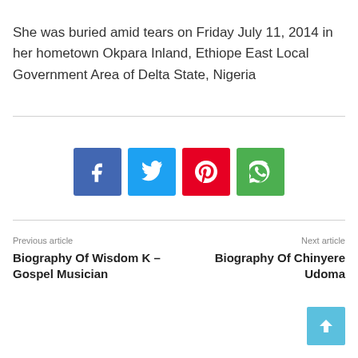She was buried amid tears on Friday July 11, 2014 in her hometown Okpara Inland, Ethiope East Local Government Area of Delta State, Nigeria
[Figure (infographic): Social share buttons: Facebook (blue), Twitter (light blue), Pinterest (red), WhatsApp (green)]
Previous article
Biography Of Wisdom K – Gospel Musician
Next article
Biography Of Chinyere Udoma